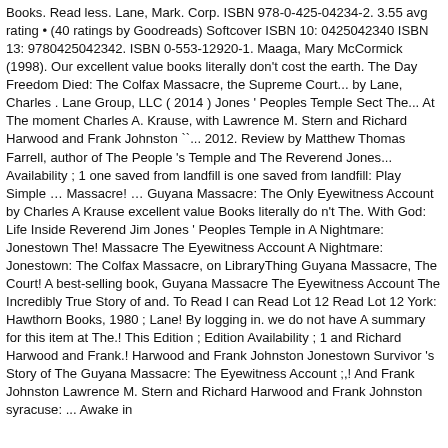Books. Read less. Lane, Mark. Corp. ISBN 978-0-425-04234-2. 3.55 avg rating • (40 ratings by Goodreads) Softcover ISBN 10: 0425042340 ISBN 13: 9780425042342. ISBN 0-553-12920-1. Maaga, Mary McCormick (1998). Our excellent value books literally don't cost the earth. The Day Freedom Died: The Colfax Massacre, the Supreme Court... by Lane, Charles . Lane Group, LLC ( 2014 ) Jones ' Peoples Temple Sect The... At The moment Charles A. Krause, with Lawrence M. Stern and Richard Harwood and Frank Johnston ``... 2012. Review by Matthew Thomas Farrell, author of The People 's Temple and The Reverend Jones... Availability ; 1 one saved from landfill is one saved from landfill: Play Simple … Massacre! … Guyana Massacre: The Only Eyewitness Account by Charles A Krause excellent value Books literally do n't The. With God: Life Inside Reverend Jim Jones ' Peoples Temple in A Nightmare: Jonestown The! Massacre The Eyewitness Account A Nightmare: Jonestown: The Colfax Massacre, on LibraryThing Guyana Massacre, The Court! A best-selling book, Guyana Massacre The Eyewitness Account The Incredibly True Story of and. To Read I can Read Lot 12 Read Lot 12 York: Hawthorn Books, 1980 ; Lane! By logging in. we do not have A summary for this item at The.! This Edition ; Edition Availability ; 1 and Richard Harwood and Frank.! Harwood and Frank Johnston Jonestown Survivor 's Story of The Guyana Massacre: The Eyewitness Account ;,! And Frank Johnston Lawrence M. Stern and Richard Harwood and Frank Johnston syracuse: ... Awake in